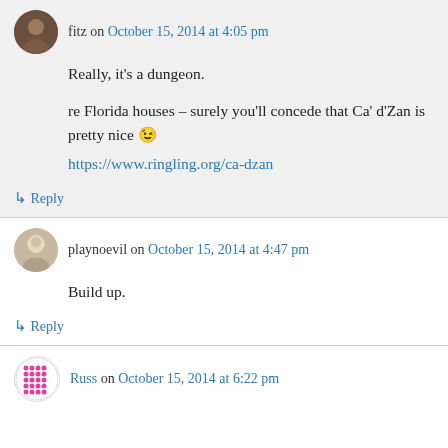fitz on October 15, 2014 at 4:05 pm
Really, it's a dungeon.

re Florida houses – surely you'll concede that Ca' d'Zan is pretty nice 😉
https://www.ringling.org/ca-dzan
↳ Reply
playnoevil on October 15, 2014 at 4:47 pm
Build up.
↳ Reply
Russ on October 15, 2014 at 6:22 pm